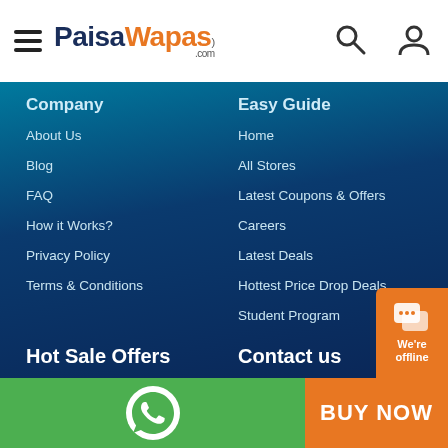[Figure (logo): PaisaWapas.com logo with hamburger menu and search/user icons in white header bar]
Company
About Us
Blog
FAQ
How it Works?
Privacy Policy
Terms & Conditions
Easy Guide
Home
All Stores
Latest Coupons & Offers
Careers
Latest Deals
Hottest Price Drop Deals
Student Program
Hot Sale Offers
PaisaWapas Big Dhamaka Sale -2022
Amazon Great Indian Festival Sale - 2022
Flipkart Big Billion Days - 2022
Flipkart Republic Day Sale Offers - 2022
Contact us
+91 9741266796
cs@paisawapas.com
[Figure (infographic): Green WhatsApp bottom bar with WhatsApp icon, orange BUY NOW bar, and orange chat widget saying We're offline]